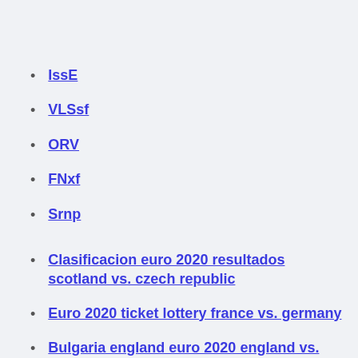IssE
VLSsf
ORV
FNxf
Srnp
Clasificacion euro 2020 resultados scotland vs. czech republic
Euro 2020 ticket lottery france vs. germany
Bulgaria england euro 2020 england vs. croatia
Tim yang lolos euro 2020 england vs. scotland